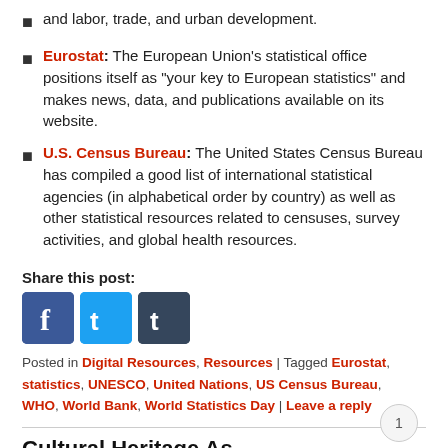and labor, trade, and urban development.
Eurostat: The European Union’s statistical office positions itself as “your key to European statistics” and makes news, data, and publications available on its website.
U.S. Census Bureau: The United States Census Bureau has compiled a good list of international statistical agencies (in alphabetical order by country) as well as other statistical resources related to censuses, survey activities, and global health resources.
Share this post:
[Figure (infographic): Three social media share buttons: Facebook (blue with f), Twitter (light blue with t), Tumblr (dark blue with t)]
Posted in Digital Resources, Resources | Tagged Eurostat, statistics, UNESCO, United Nations, US Census Bureau, WHO, World Bank, World Statistics Day | Leave a reply
Cultural Heritage As